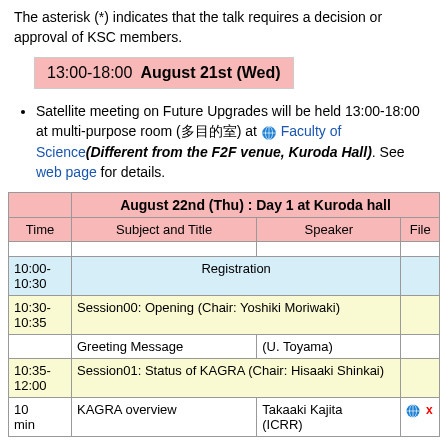The asterisk (*) indicates that the talk requires a decision or approval of KSC members.
13:00-18:00  August 21st (Wed)
Satellite meeting on Future Upgrades will be held 13:00-18:00 at multi-purpose room (多目的室) at Faculty of Science(Different from the F2F venue, Kuroda Hall). See web page for details.
|  | August 22nd (Thu) : Day 1 at Kuroda hall |  |  |
| --- | --- | --- | --- |
| Time | Subject and Title | Speaker | File |
|  |  |  |  |
| 10:00-10:30 | Registration |  |  |
| 10:30-10:35 | Session00: Opening (Chair: Yoshiki Moriwaki) |  |  |
|  | Greeting Message | (U. Toyama) |  |
| 10:35-12:00 | Session01: Status of KAGRA (Chair: Hisaaki Shinkai) |  |  |
| 10 min | KAGRA overview | Takaaki Kajita (ICRR) |  |